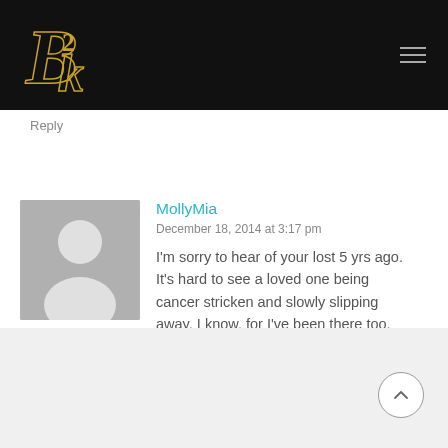[Figure (logo): B2K gold decorative logo on black background with hamburger menu icon]
Reply
MollyMia
December 18, 2014 at 3:17 pm
I'm sorry to hear of your lost 5 yrs ago. It's hard to see a loved one being cancer stricken and slowly slipping away. I know, for I've been there too.
Reply